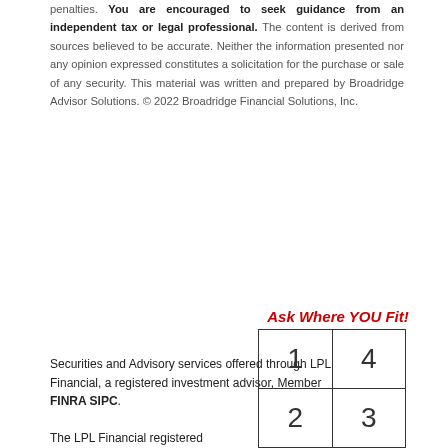penalties. You are encouraged to seek guidance from an independent tax or legal professional. The content is derived from sources believed to be accurate. Neither the information presented nor any opinion expressed constitutes a solicitation for the purchase or sale of any security. This material was written and prepared by Broadridge Advisor Solutions. © 2022 Broadridge Financial Solutions, Inc.
Securities and Advisory services offered through LPL Financial, a registered investment advisor, Member FINRA SIPC.

The LPL Financial registered
[Figure (other): Ask Where YOU Fit! grid with 2x2 table containing numbers 1, 4 (top row) and 2, 3 (bottom row)]